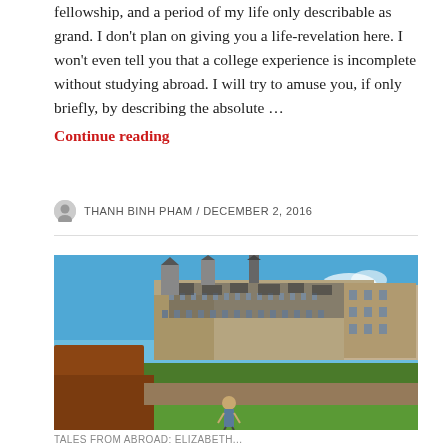fellowship, and a period of my life only describable as grand. I don't plan on giving you a life-revelation here. I won't even tell you that a college experience is incomplete without studying abroad. I will try to amuse you, if only briefly, by describing the absolute … Continue reading
THANH BINH PHAM / DECEMBER 2, 2016
[Figure (photo): A person standing in front of a large historic castle (likely Kronborg Castle in Denmark) with green lawns, a moat or earthworks, and a bright blue sky.]
TALES FROM ABROAD: ELIZABETH...